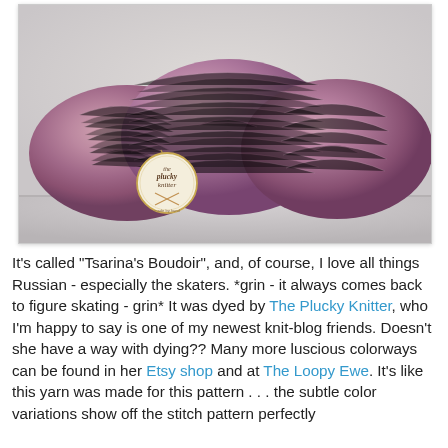[Figure (photo): A skein of hand-dyed yarn in dusty rose/mauve color called Tsarina's Boudoir by The Plucky Knitter, with a circular branded tag showing 'the plucky knitter', placed on a shelf against a light gray wall background.]
It's called "Tsarina's Boudoir", and, of course, I love all things Russian - especially the skaters. *grin - it always comes back to figure skating - grin* It was dyed by The Plucky Knitter, who I'm happy to say is one of my newest knit-blog friends. Doesn't she have a way with dying?? Many more luscious colorways can be found in her Etsy shop and at The Loopy Ewe. It's like this yarn was made for this pattern . . . the subtle color variations show off the stitch pattern perfectly